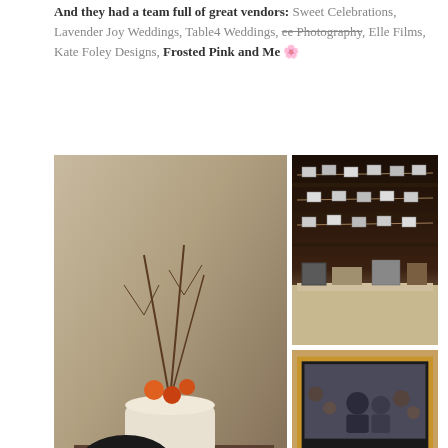And they had a team full of great vendors: Sweet Celebrations, Lavender Joy Weddings, Table4 Weddings, ee Photography, Elle Films, Kate Foley Designs, Frosted Pink and Me 🌸
[Figure (photo): Welcome centerpiece arrangement with dried branches, orange flowers in white ceramic pots, a chalkboard welcome sign, yarn balls, on a rustic wooden table]
[Figure (photo): Photos strung on lines across a rustic log cabin wall with a table below holding framed photos and decorative items]
[Figure (photo): Framed mirror/chalkboard with a photo of a couple at the top and chalkboard text reading: Your glass for the night - for whatever tastes right. Don't lose your cup! Be sure to write your name on]
[Figure (photo): Close-up strip of small photos clipped to a string across a rustic log surface with a red/plaid fabric]